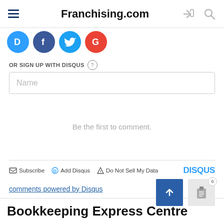Franchising.com
[Figure (logo): Social login icons: Disqus (blue D), Facebook (blue f), Twitter (blue bird), Google (red G)]
OR SIGN UP WITH DISQUS
Name
Be the first to comment.
Subscribe   Add Disqus   Do Not Sell My Data   DISQUS
comments powered by Disqus
Bookkeeping Express Centre